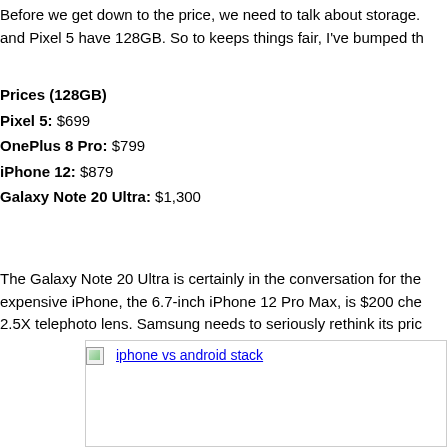Before we get down to the price, we need to talk about storage. and Pixel 5 have 128GB. So to keeps things fair, I've bumped th
Prices (128GB)
Pixel 5: $699
OnePlus 8 Pro: $799
iPhone 12: $879
Galaxy Note 20 Ultra: $1,300
The Galaxy Note 20 Ultra is certainly in the conversation for the expensive iPhone, the 6.7-inch iPhone 12 Pro Max, is $200 che 2.5X telephoto lens. Samsung needs to seriously rethink its pric
[Figure (photo): Image placeholder showing broken image link labeled 'iphone vs android stack']